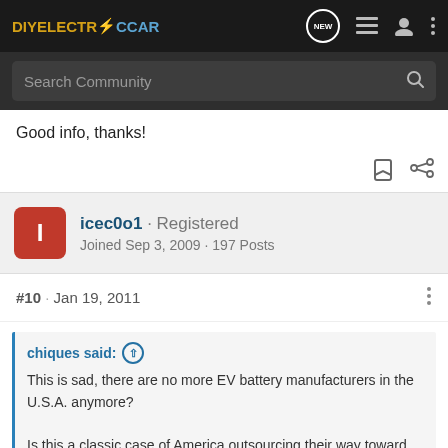DIYELECTRiCCAR navigation bar with search
Good info, thanks!
icec0o1 · Registered
Joined Sep 3, 2009 · 197 Posts
#10 · Jan 19, 2011
chiques said: ↑
This is sad, there are no more EV battery manufacturers in the U.S.A. anymore?

Is this a classic case of America outsourcing their way toward economical self destruct?